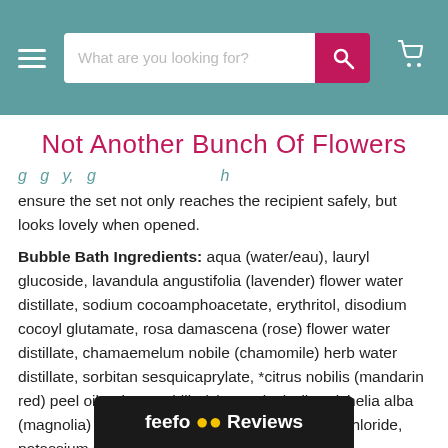What are you looking for? [search bar with pink button and cart icon]
Not Another Bunch Of Flowers
g g y, g h
ensure the set not only reaches the recipient safely, but looks lovely when opened.
Bubble Bath Ingredients: aqua (water/eau), lauryl glucoside, lavandula angustifolia (lavender) flower water distillate, sodium cocoamphoacetate, erythritol, disodium cocoyl glutamate, rosa damascena (rose) flower water distillate, chamaemelum nobile (chamomile) herb water distillate, sorbitan sesquicaprylate, *citrus nobilis (mandarin red) peel oil, *citrus nobilis (clementine) oil, *michelia alba (magnolia) flower oil, isopropyl alcohol, sodium chloride, potassium sorbate, sodium benzoate, citric acid, hydroxyacetophenone, **limonene, **linalool, **geraniol,**citral.
feefo Reviews